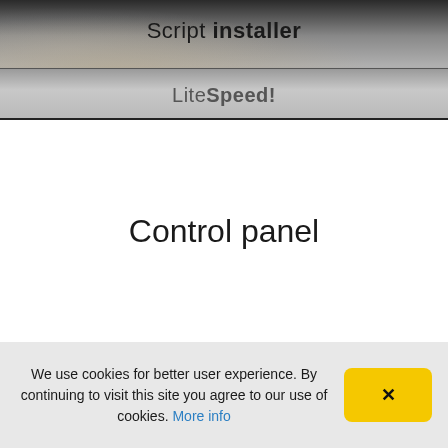Script installer
[Figure (screenshot): LiteSpeed! navigation bar with metallic gradient background]
Control panel
We use cookies for better user experience. By continuing to visit this site you agree to our use of cookies. More info